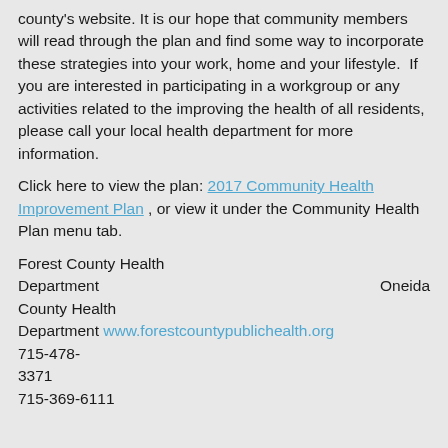county's website. It is our hope that community members will read through the plan and find some way to incorporate these strategies into your work, home and your lifestyle.  If you are interested in participating in a workgroup or any activities related to the improving the health of all residents, please call your local health department for more information.
Click here to view the plan: 2017 Community Health Improvement Plan , or view it under the Community Health Plan menu tab.
Forest County Health Department                    Oneida County Health Department www.forestcountypublichealth.org 715-478-3371 715-369-6111